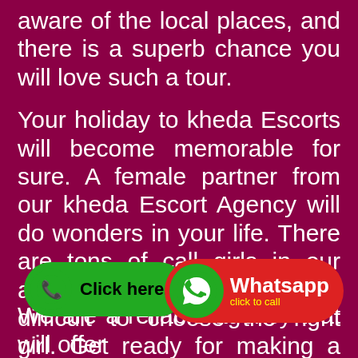aware of the local places, and there is a superb chance you will love such a tour.
Your holiday to kheda Escorts will become memorable for sure. A female partner from our kheda Escort Agency will do wonders in your life. There are tons of call girls in our agency, so you will find it very difficult to choose the right girl. Get ready for making a solid move as all our babes are the best in terms of services. Let's make some naughty moments with these Brilliant kheda Call Girls.
We are a reliable agency that will offer
[Figure (other): Green phone button with 'Click here.' text]
[Figure (other): WhatsApp button with green circle logo and red background, text 'Whatsapp click to call']